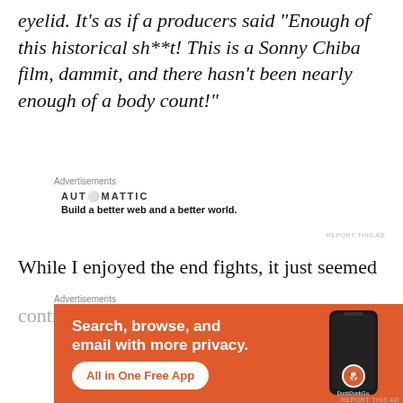eyelid. It’s as if a producers said “Enough of this historical sh**t! This is a Sonny Chiba film, dammit, and there hasn’t been nearly enough of a body count!”
Advertisements
[Figure (infographic): Automattic advertisement: logo reading AUTOMATTIC with teal O, tagline Build a better web and a better world.]
REPORT THIS AD
While I enjoyed the end fights, it just seemed
contrary to everything that happened in the
Advertisements
[Figure (infographic): DuckDuckGo advertisement on orange background: Search, browse, and email with more privacy. All in One Free App. Shows phone with DuckDuckGo logo.]
REPORT THIS AD